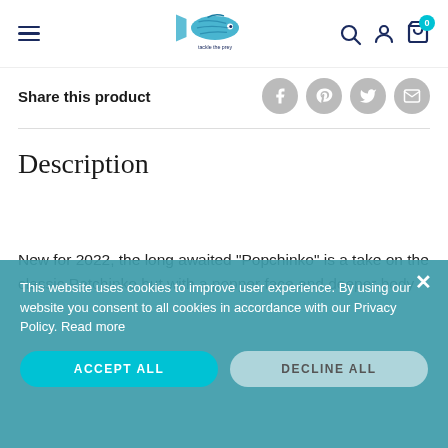Navigation header with hamburger menu, fish logo, search icon, user icon, and cart icon with badge 0
Share this product
Description
New for 2022, the long awaited "Popchinko" is a take on the classic Patchinko but with a popper face and deeper body that allows the lure to walk and pop.

On days when the fish need waking up, or you are in choppy or deeper water than normal, the Popchinko will come into its own.
This website uses cookies to improve user experience. By using our website you consent to all cookies in accordance with our Privacy Policy. Read more